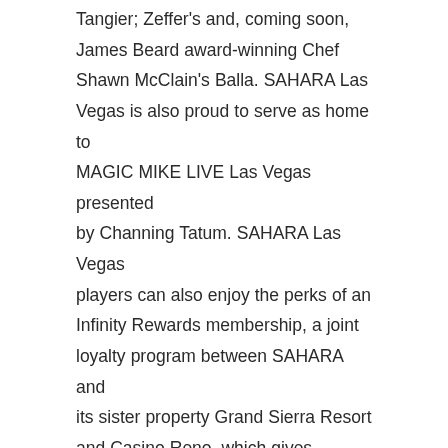Tangier; Zeffer's and, coming soon, James Beard award-winning Chef Shawn McClain's Balla. SAHARA Las Vegas is also proud to serve as home to MAGIC MIKE LIVE Las Vegas presented by Channing Tatum. SAHARA Las Vegas players can also enjoy the perks of an Infinity Rewards membership, a joint loyalty program between SAHARA and its sister property Grand Sierra Resort and Casino Reno, which gives players the opportunity to earn and redeem rewards across both destinations. SAHARA Las Vegas is a minority-owned